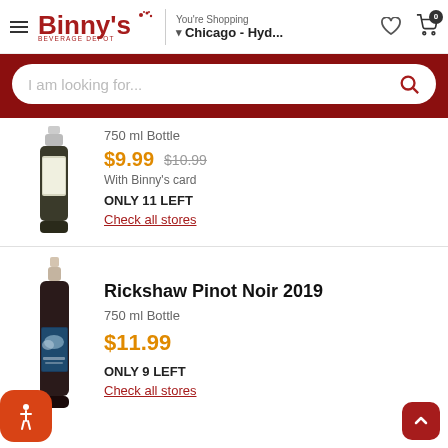Binny's Beverage Depot — You're Shopping Chicago - Hyd...
I am looking for...
750 ml Bottle
$9.99  $10.99
With Binny's card
ONLY 11 LEFT
Check all stores
[Figure (photo): Wine bottle for first product listing]
Rickshaw Pinot Noir 2019
750 ml Bottle
$11.99
ONLY 9 LEFT
Check all stores
[Figure (photo): Wine bottle for Rickshaw Pinot Noir 2019]